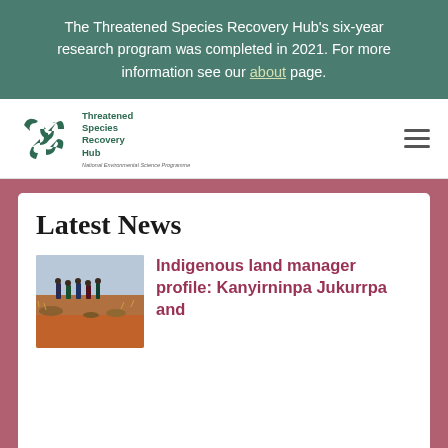The Threatened Species Recovery Hub's six-year research program was completed in 2021. For more information see our about page.
[Figure (logo): Threatened Species Recovery Hub logo with stylized recycling symbol in dark green and text: Threatened Species Recovery Hub, National Environmental Science Programme]
Latest News
[Figure (photo): Group of Indigenous land managers standing in arid red Australian outback landscape with sparse dry vegetation]
Indigenous land manager profile: Kanyirninpa Jukurrpa and